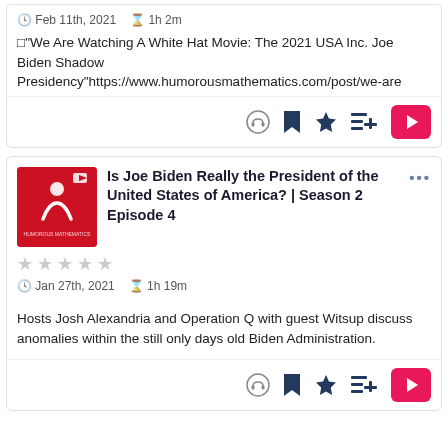Feb 11th, 2021  1h 2m
□"We Are Watching A White Hat Movie: The 2021 USA Inc. Joe Biden Shadow Presidency"https://www.humorousmathematics.com/post/we-are
[Figure (other): Action bar with earphone, bookmark, star, add-to-queue, and play buttons]
[Figure (other): Podcast thumbnail: red square with white figure logo and 'Humorous Mathematics' text]
Is Joe Biden Really the President of the United States of America? | Season 2 Episode 4
Jan 27th, 2021  1h 19m
Hosts Josh Alexandria and Operation Q with guest Witsup discuss anomalies within the still only days old Biden Administration.
[Figure (other): Action bar with earphone, bookmark, star, add-to-queue, and play buttons]